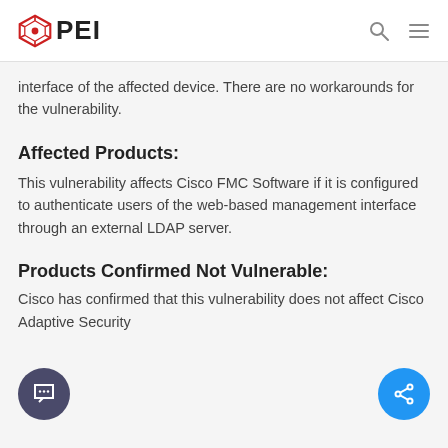PEI
interface of the affected device. There are no workarounds for the vulnerability.
Affected Products:
This vulnerability affects Cisco FMC Software if it is configured to authenticate users of the web-based management interface through an external LDAP server.
Products Confirmed Not Vulnerable:
Cisco has confirmed that this vulnerability does not affect Cisco Adaptive Security